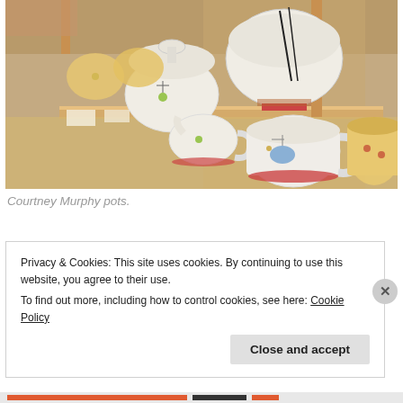[Figure (photo): Photograph of Courtney Murphy ceramic pots displayed on a wooden shelf. Items include mugs, cups, a sugar bowl with lid, and a large white bowl with black line decoration. The pottery is white/cream with colorful painted designs resembling hanging ornaments or mobiles.]
Courtney Murphy pots.
Privacy & Cookies: This site uses cookies. By continuing to use this website, you agree to their use.
To find out more, including how to control cookies, see here: Cookie Policy
Close and accept